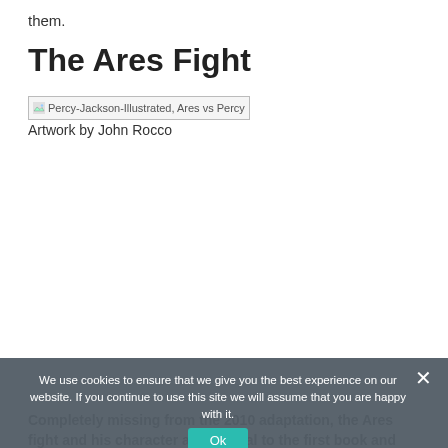them.
The Ares Fight
[Figure (illustration): Broken image placeholder for Percy-Jackson-Illustrated, Ares vs Percy. Artwork by John Rocco]
Percy-Jackson-Illustrated, Ares vs Percy Artwork by John Rocco
We use cookies to ensure that we give you the best experience on our website. If you continue to use this site we will assume that you are happy with it.
Completely missing from the 2010 adaptation, the Ares fight and his character are integral to the first book and